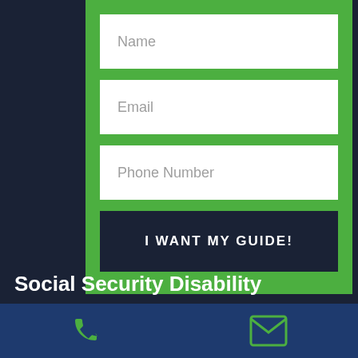Name
Email
Phone Number
I WANT MY GUIDE!
Social Security Disability Attorneys
[Figure (infographic): Phone icon and email envelope icon in footer bar]